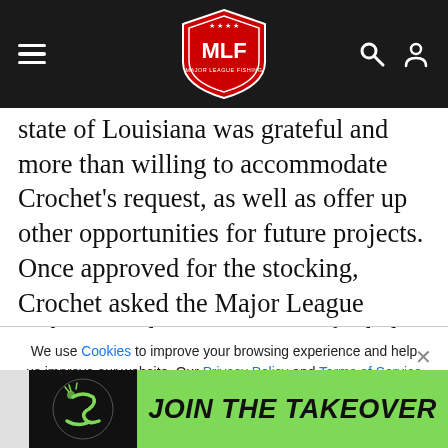MLF Major League Fishing - navigation header
state of Louisiana was grateful and more than willing to accommodate Crochet’s request, as well as offer up other opportunities for future projects. Once approved for the stocking, Crochet asked the Major League Fishing Angler’s Association for help in setting up the event. Crochet then went to work on his own, engaging his sponsors and friends and calling on his vast fishing network to do what they could do to help him raise funds.
We use Cookies to improve your browsing experience and help us improve our website. Our Privacy Policy and Terms of Service have changed. Click OK to agree.
[Figure (infographic): Green advertisement banner with black logo circle showing stylized 'S' and text JOIN THE TAKEOVER in bold italic black font on green background]